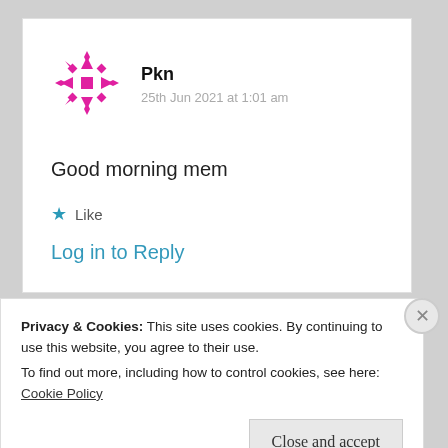Pkn
25th Jun 2021 at 1:01 am
Good morning mem
★ Like
Log in to Reply
Privacy & Cookies: This site uses cookies. By continuing to use this website, you agree to their use. To find out more, including how to control cookies, see here: Cookie Policy
Close and accept